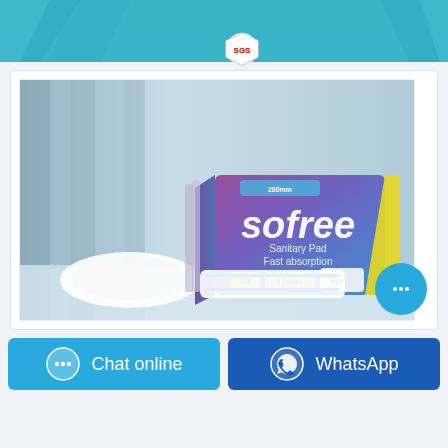[Figure (infographic): Top banner with teal/cyan gradient background featuring certification badge icons: FDA, EPA, ISO, CE, SGS and others in hexagonal/shield shapes]
[Figure (photo): Product photo of 'sofree Sanitary Pad Fast absorption' box with purple-to-blue gradient packaging, showing 10 pads, placed on a white surface with soft blue curtain background. A cyan chat bubble icon overlaps the bottom right corner.]
Chat online
WhatsApp